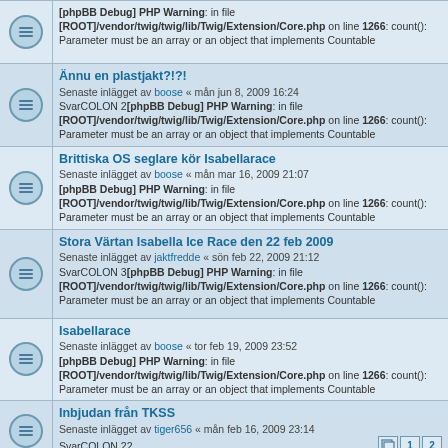[phpBB Debug] PHP Warning: in file [ROOT]/vendor/twig/twig/lib/Twig/Extension/Core.php on line 1266: count(): Parameter must be an array or an object that implements Countable
Ännu en plastjakt?!?! Senaste inlägget av boose « mån jun 8, 2009 16:24 SvarCOLON 2[phpBB Debug] PHP Warning: in file [ROOT]/vendor/twig/twig/lib/Twig/Extension/Core.php on line 1266: count(): Parameter must be an array or an object that implements Countable
Brittiska OS seglare kör Isabellarace Senaste inlägget av boose « mån mar 16, 2009 21:07 [phpBB Debug] PHP Warning: in file [ROOT]/vendor/twig/twig/lib/Twig/Extension/Core.php on line 1266: count(): Parameter must be an array or an object that implements Countable
Stora Värtan Isabella Ice Race den 22 feb 2009 Senaste inlägget av jaktfredde « sön feb 22, 2009 21:12 SvarCOLON 3[phpBB Debug] PHP Warning: in file [ROOT]/vendor/twig/twig/lib/Twig/Extension/Core.php on line 1266: count(): Parameter must be an array or an object that implements Countable
Isabellarace Senaste inlägget av boose « tor feb 19, 2009 23:52 [phpBB Debug] PHP Warning: in file [ROOT]/vendor/twig/twig/lib/Twig/Extension/Core.php on line 1266: count(): Parameter must be an array or an object that implements Countable
Inbjudan från TKSS Senaste inlägget av tiger656 « mån feb 16, 2009 23:14 SvarCOLON 22 [pagination 1 2]
Försäkring